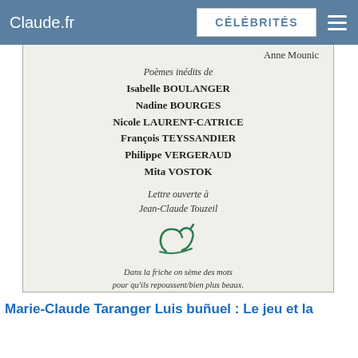Claude.fr   CÉLÉBRITÉS
[Figure (screenshot): Scanned book cover page with text listing poets and publisher logo on a cream/off-white background]
Anne Mounic
Poèmes inédits de
Isabelle BOULANGER
Nadine BOURGES
Nicole LAURENT-CATRICE
François TEYSSANDIER
Philippe VERGERAUD
Mita VOSTOK
Lettre ouverte à
Jean-Claude Touzeil
Dans la friche on sème des mots
pour qu'ils repoussent/bien plus beaux.
Raymond Queneau.
— Hiver 2006-2007 —
Marie-Claude Taranger Luis buñuel : Le jeu et la